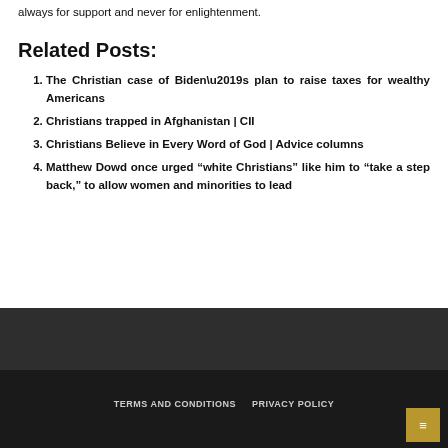always for support and never for enlightenment.
Related Posts:
The Christian case of Biden’s plan to raise taxes for wealthy Americans
Christians trapped in Afghanistan | CII
Christians Believe in Every Word of God | Advice columns
Matthew Dowd once urged “white Christians” like him to “take a step back,” to allow women and minorities to lead
TERMS AND CONDITIONS   PRIVACY POLICY